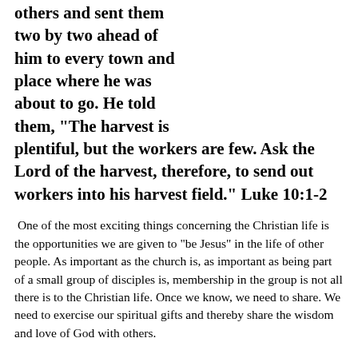others and sent them two by two ahead of him to every town and place where he was about to go. He told them, “The harvest is plentiful, but the workers are few. Ask the Lord of the harvest, therefore, to send out workers into his harvest field.” Luke 10:1-2
One of the most exciting things concerning the Christian life is the opportunities we are given to “be Jesus” in the life of other people. As important as the church is, as important as being part of a small group of disciples is, membership in the group is not all there is to the Christian life. Once we know, we need to share. We need to exercise our spiritual gifts and thereby share the wisdom and love of God with others.
Jesus formed the disciples as a community and enjoyed a